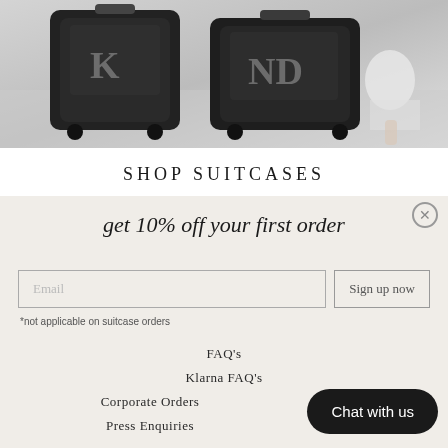[Figure (photo): Two black hardshell monogrammed suitcases with initials on a marble floor, a person sitting in the background]
SHOP SUITCASES
get 10% off your first order
Email
Sign up now
*not applicable on suitcase orders
FAQ's
Klarna FAQ's
Corporate Orders
Press Enquiries
Chat with us